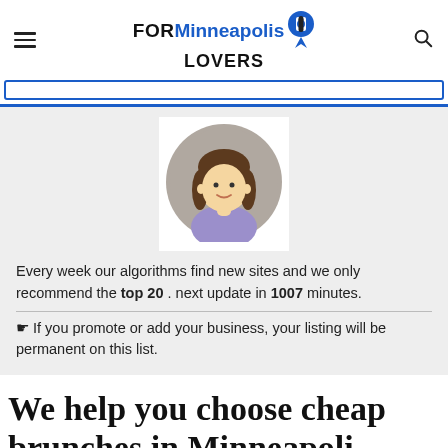FORMinneapolis LOVERS
[Figure (screenshot): Search bar with blue border]
[Figure (illustration): Cartoon avatar of a girl with brown hair and purple shirt in a circular gray frame]
Every week our algorithms find new sites and we only recommend the top 20 . next update in 1007 minutes.
☛ If you promote or add your business, your listing will be permanent on this list.
We help you choose cheap brunches in Minneapolis